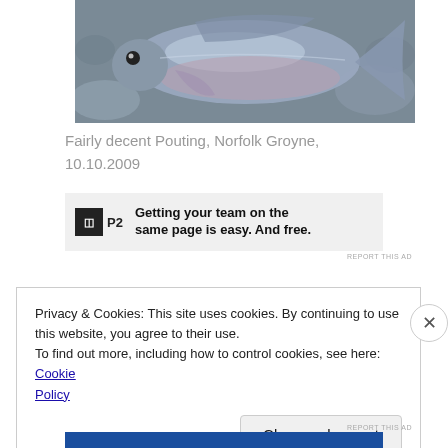[Figure (photo): A Pouting fish (flatfish) photographed on rocky/concrete surface, silvery-blue coloring, viewed from above]
Fairly decent Pouting, Norfolk Groyne, 10.10.2009
[Figure (other): Advertisement for P2 product: 'Getting your team on the same page is easy. And free.']
REPORT THIS AD
Privacy & Cookies: This site uses cookies. By continuing to use this website, you agree to their use.
To find out more, including how to control cookies, see here: Cookie Policy
Close and accept